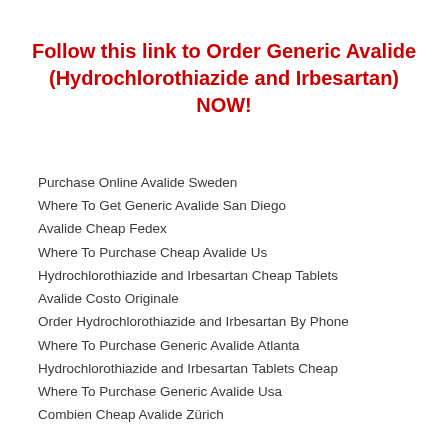Follow this link to Order Generic Avalide (Hydrochlorothiazide and Irbesartan) NOW!
Purchase Online Avalide Sweden
Where To Get Generic Avalide San Diego
Avalide Cheap Fedex
Where To Purchase Cheap Avalide Us
Hydrochlorothiazide and Irbesartan Cheap Tablets
Avalide Costo Originale
Order Hydrochlorothiazide and Irbesartan By Phone
Where To Purchase Generic Avalide Atlanta
Hydrochlorothiazide and Irbesartan Tablets Cheap
Where To Purchase Generic Avalide Usa
Combien Cheap Avalide Zürich